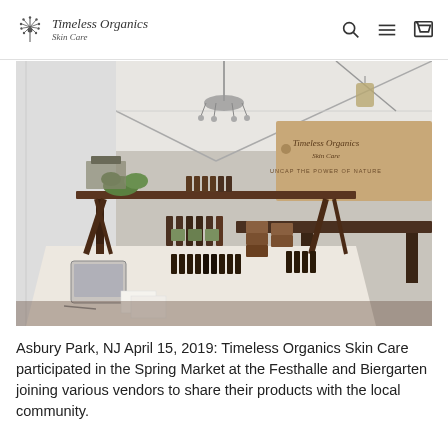Timeless Organics Skin Care — navigation header with logo, search, menu, and cart icons
[Figure (photo): Interior of a market tent booth for Timeless Organics Skin Care. A table covered with a white cloth displays rows of small brown bottles and product packages. A wooden shelf above holds additional products and green plants. A chandelier hangs from the tent ceiling. In the background, a wooden sign reads 'Timeless Organics Skin Care — Uncap the Power of Nature'. A tablet device sits on the left side of the table.]
Asbury Park, NJ April 15, 2019: Timeless Organics Skin Care participated in the Spring Market at the Festhalle and Biergarten joining various vendors to share their products with the local community.